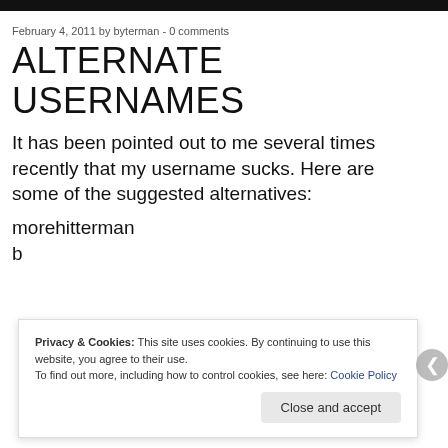February 4, 2011 by byterman - 0 comments
ALTERNATE USERNAMES
It has been pointed out to me several times recently that my username sucks. Here are some of the suggested alternatives:
morebitterman
b
Privacy & Cookies: This site uses cookies. By continuing to use this website, you agree to their use. To find out more, including how to control cookies, see here: Cookie Policy
Close and accept